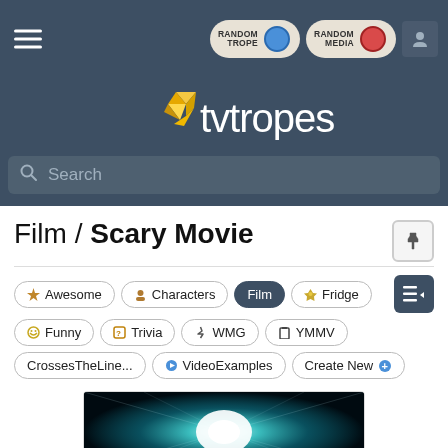[Figure (screenshot): TV Tropes website header with hamburger menu, Random Trope and Random Media buttons, and user icon]
[Figure (logo): TV Tropes logo with yellow diamond gem and white text 'tvtropes']
[Figure (screenshot): Search bar with magnifying glass icon and placeholder text 'Search']
Film / Scary Movie
[Figure (screenshot): Navigation tab pills: Awesome, Characters, Film (active), Fridge, Funny, Trivia, WMG, YMMV, CrossesTheLine..., VideoExamples, Create New]
[Figure (photo): Movie still showing a bright light burst/flash effect with teal/cyan glow on dark background]